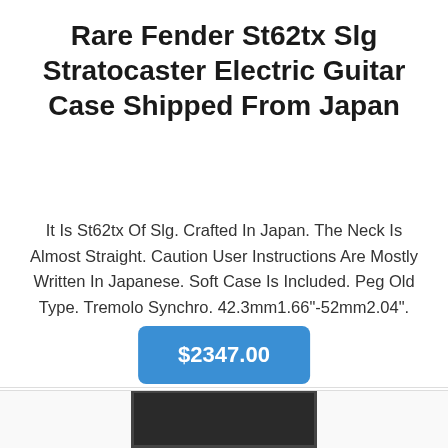Rare Fender St62tx Slg Stratocaster Electric Guitar Case Shipped From Japan
It Is St62tx Of Slg. Crafted In Japan. The Neck Is Almost Straight. Caution User Instructions Are Mostly Written In Japanese. Soft Case Is Included. Peg Old Type. Tremolo Synchro. 42.3mm1.66"-52mm2.04".
$2347.00
[Figure (photo): Bottom portion of page showing the top edge of a guitar case photo, dark colored case with border visible]